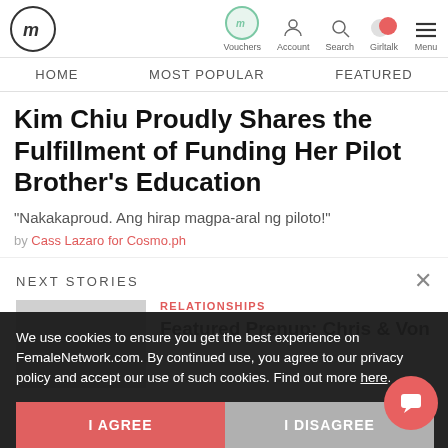FemaleNetwork.com – Vouchers, Account, Search, Girltalk, Menu
HOME   MOST POPULAR   FEATURED
Kim Chiu Proudly Shares the Fulfillment of Funding Her Pilot Brother's Education
“Nakakaproud. Ang hirap magpa-aral ng piloto!”
by Cass Lazaro for Cosmo.ph
NEXT STORIES
RELATIONSHIPS
Featured Prenup: Chris & Von
We use cookies to ensure you get the best experience on FemaleNetwork.com. By continued use, you agree to our privacy policy and accept our use of such cookies. Find out more here.
I AGREE
I DISAGREE